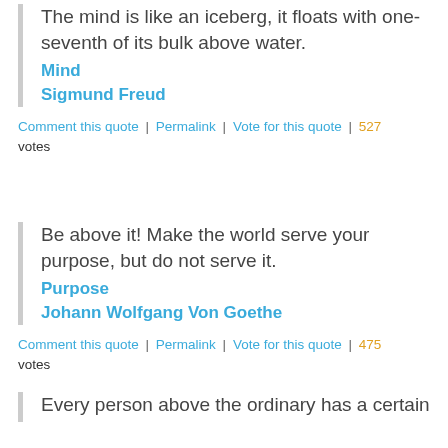The mind is like an iceberg, it floats with one-seventh of its bulk above water.
Mind
Sigmund Freud
Comment this quote | Permalink | Vote for this quote | 527 votes
Be above it! Make the world serve your purpose, but do not serve it.
Purpose
Johann Wolfgang Von Goethe
Comment this quote | Permalink | Vote for this quote | 475 votes
Every person above the ordinary has a certain